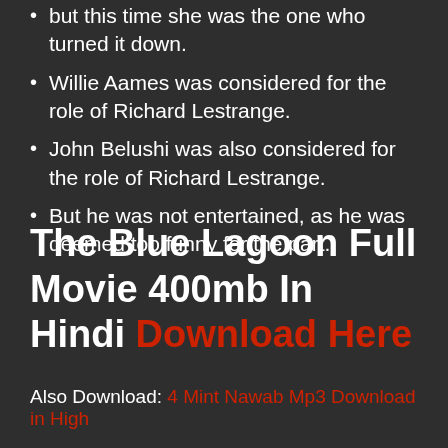but this time she was the one who turned it down.
Willie Aames was considered for the role of Richard Lestrange.
John Belushi was also considered for the role of Richard Lestrange.
But he was not entertained, as he was deemed too funny for the part.
The Blue Lagoon Full Movie 400mb In Hindi Download Here
Also Download: 4 Mint Nawab Mp3 Download in High